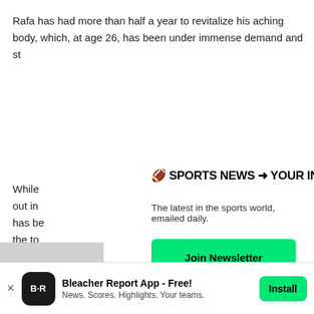Rafa has had more than half a year to revitalize his aching body, which, at age 26, has been under immense demand and st
While
out in
has be
the to
be, the
Rafa's
champ
[Figure (infographic): Newsletter signup overlay card with title '🏈 SPORTS NEWS ➜ YOUR INBOX', subtitle 'The latest in the sports world, emailed daily.', a green 'Join Newsletter' button, and a 'Maybe Later' link]
[Figure (infographic): Bleacher Report app install banner at bottom: BR logo, 'Bleacher Report App - Free!' title, 'News. Scores. Highlights. Your teams.' subtitle, green Install button, and an X close button]